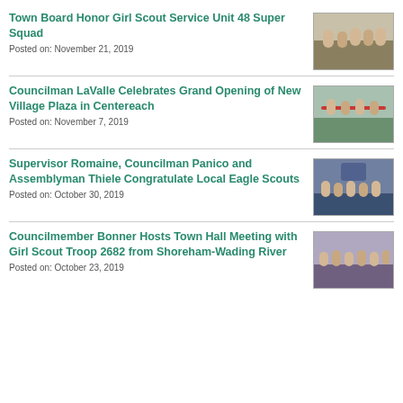Town Board Honor Girl Scout Service Unit 48 Super Squad
Posted on: November 21, 2019
[Figure (photo): Group photo of Girl Scouts in uniform]
Councilman LaValle Celebrates Grand Opening of New Village Plaza in Centereach
Posted on: November 7, 2019
[Figure (photo): Ribbon cutting ceremony photo]
Supervisor Romaine, Councilman Panico and Assemblyman Thiele Congratulate Local Eagle Scouts
Posted on: October 30, 2019
[Figure (photo): Group photo with Eagle Scouts and officials]
Councilmember Bonner Hosts Town Hall Meeting with Girl Scout Troop 2682 from Shoreham-Wading River
Posted on: October 23, 2019
[Figure (photo): Group photo of Girl Scout Troop 2682 with Councilmember Bonner]